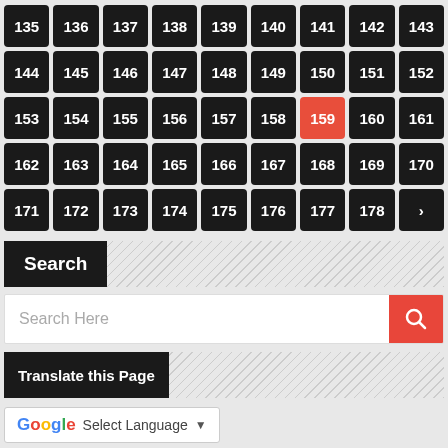135 136 137 138 139 140 141 142 143 144 145 146 147 148 149 150 151 152 153 154 155 156 157 158 159 160 161 162 163 164 165 166 167 168 169 170 171 172 173 174 175 176 177 178 >
Search
Search Here
Translate this Page
Select Language